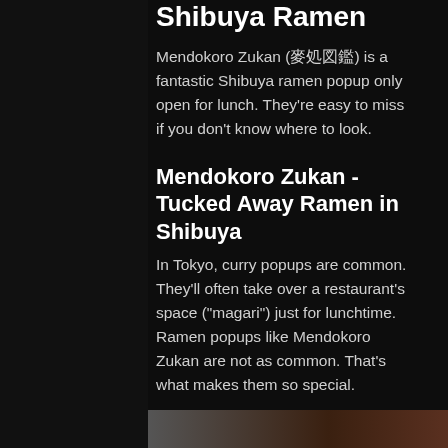Shibuya Ramen
Mendokoro Zukan (麺処図鑑) is a fantastic Shibuya ramen popup only open for lunch. They're easy to miss if you don't know where to look.
Mendokoro Zukan - Tucked Away Ramen in Shibuya
In Tokyo, curry popups are common. They'll often take over a restaurant's space ("magari") just for lunchtime. Ramen popups like Mendokoro Zukan are not as common. That's what makes them so special.